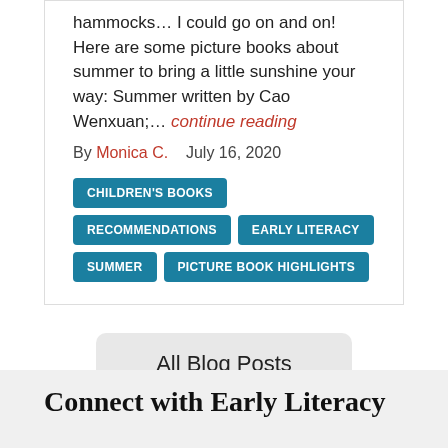hammocks… I could go on and on! Here are some picture books about summer to bring a little sunshine your way: Summer written by Cao Wenxuan;… continue reading
By Monica C.    July 16, 2020
CHILDREN'S BOOKS
RECOMMENDATIONS
EARLY LITERACY
SUMMER
PICTURE BOOK HIGHLIGHTS
All Blog Posts
Connect with Early Literacy